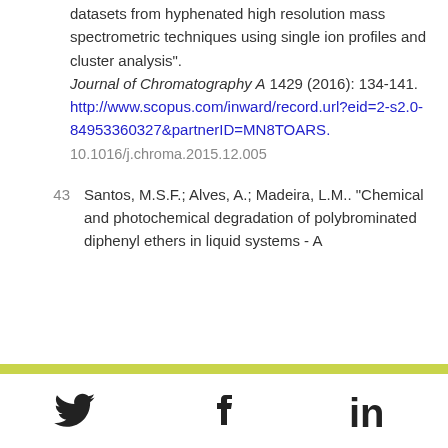datasets from hyphenated high resolution mass spectrometric techniques using single ion profiles and cluster analysis". Journal of Chromatography A 1429 (2016): 134-141. http://www.scopus.com/inward/record.url?eid=2-s2.0-84953360327&partnerID=MN8TOARS. 10.1016/j.chroma.2015.12.005
43 Santos, M.S.F.; Alves, A.; Madeira, L.M.. "Chemical and photochemical degradation of polybrominated diphenyl ethers in liquid systems - A
[Figure (other): Social media footer icons: Twitter, Facebook, LinkedIn]